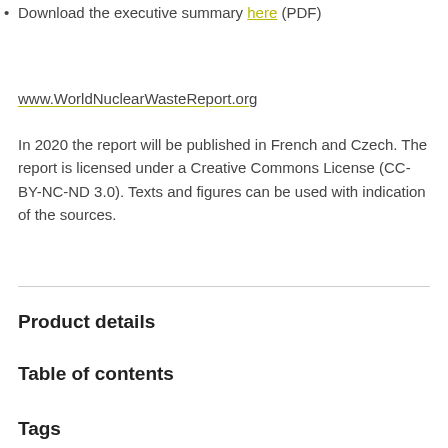Download the executive summary here (PDF)
www.WorldNuclearWasteReport.org
In 2020 the report will be published in French and Czech. The report is licensed under a Creative Commons License (CC-BY-NC-ND 3.0). Texts and figures can be used with indication of the sources.
Product details
Table of contents
Tags